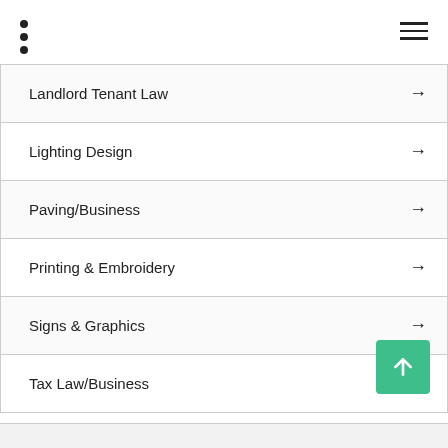Navigation header with dots menu and hamburger menu
Landlord Tenant Law →
Lighting Design →
Paving/Business →
Printing & Embroidery →
Signs & Graphics →
Tax Law/Business →